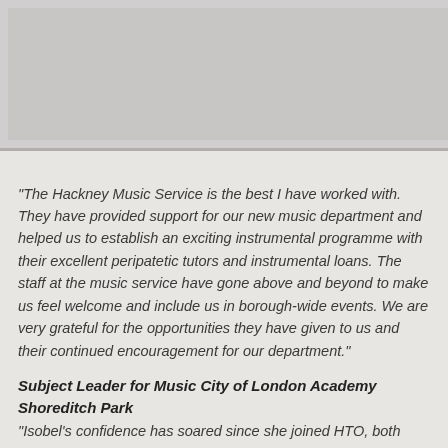[Figure (photo): Image area at top of page, appears to be a photograph (cropped/partially visible)]
“The Hackney Music Service is the best I have worked with. They have provided support for our new music department and helped us to establish an exciting instrumental programme with their excellent peripatetic tutors and instrumental loans. The staff at the music service have gone above and beyond to make us feel welcome and include us in borough-wide events. We are very grateful for the opportunities they have given to us and their continued encouragement for our department.”
Subject Leader for Music City of London Academy Shoreditch Park
“Isobel’s confidence has soared since she joined HTO, both